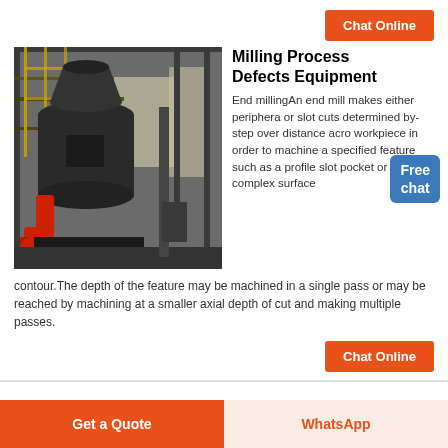Chat Online
[Figure (photo): Industrial milling machine in a factory setting, large black cylindrical grinder with red mechanical arm at base, steel framework structures surrounding it, interior industrial building with high ceilings and natural light from windows]
Milling Process Defects Equipment
End millingAn end mill makes either peripheral or slot cuts determined by the step over distance across the workpiece in order to machine a specified feature such as a profile slot pocket or even a complex surface contour.The depth of the feature may be machined in a single pass or may be reached by machining at a smaller axial depth of cut and making multiple passes.
Chat Online
Get a Quote
WhatsApp